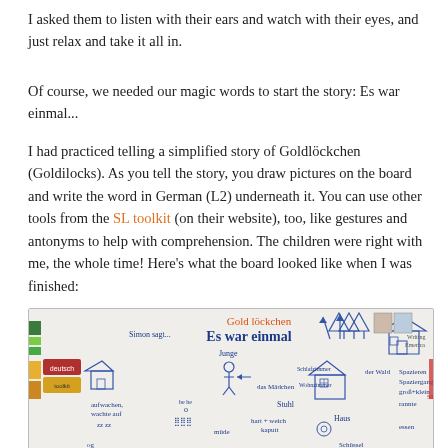I asked them to listen with their ears and watch with their eyes, and just relax and take it all in.
Of course, we needed our magic words to start the story: Es war einmal...
I had practiced telling a simplified story of Goldlöckchen (Goldilocks). As you tell the story, you draw pictures on the board and write the word in German (L2) underneath it. You can use other tools from the SL toolkit (on their website), too, like gestures and antonyms to help with comprehension. The children were right with me, the whole time! Here's what the board looked like when I was finished:
[Figure (photo): A whiteboard with German words and hand-drawn pictures illustrating the story of Goldlöckchen (Goldilocks). The board shows 'Goldlöckchen' in orange at the top, 'Es war einmal' in blue, and various German vocabulary words with simple drawings including a boy (Junge), girl (das Mädchen), chair (Stuhl), living room (Wohnzimmer), house (Haus), sleeping/waking (aufwachen), tired (müde), walk (Spazieren, Spaziergang), and the forest (der Wald).]